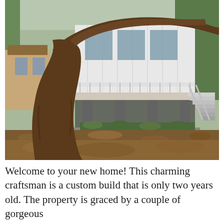[Figure (photo): Exterior photo of a modern craftsman-style home elevated on concrete piers, with a large wooden deck and cable railings, stairs on the right side, and a massive oak tree in the foreground with large sprawling branches. The ground is covered in fallen brown leaves and sparse grass. A neighboring house is visible to the left and trees in the background.]
Welcome to your new home! This charming craftsman is a custom build that is only two years old. The property is graced by a couple of gorgeous